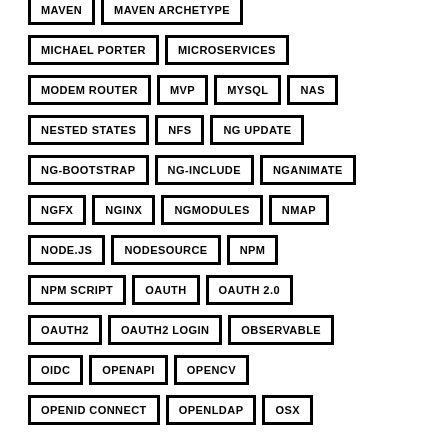MAVEN
MAVEN ARCHETYPE
MICHAEL PORTER
MICROSERVICES
MODEM ROUTER
MVP
MYSQL
NAS
NESTED STATES
NFS
NG UPDATE
NG-BOOTSTRAP
NG-INCLUDE
NGANIMATE
NGFX
NGINX
NGMODULES
NMAP
NODE.JS
NODESOURCE
NPM
NPM SCRIPT
OAUTH
OAUTH 2.0
OAUTH2
OAUTH2 LOGIN
OBSERVABLE
OIDC
OPENAPI
OPENCV
OPENID CONNECT
OPENLDAP
OSX